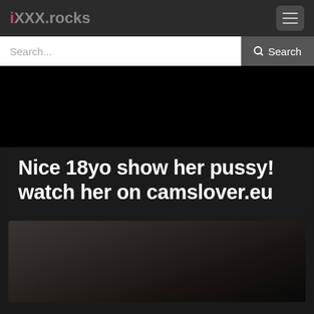iXXX.rocks
Search...
Nice 18yo show her pussy! watch her on camslover.eu
[Figure (photo): Thumbnail image of a person, partially visible at bottom of page]